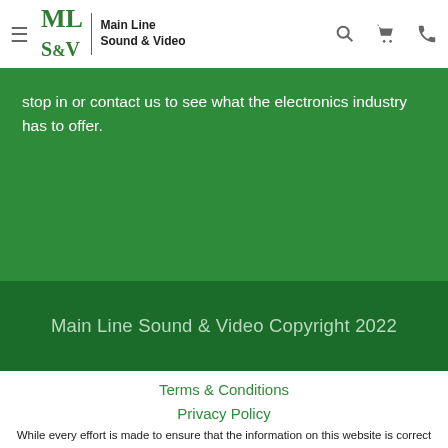Main Line Sound & Video
stop in or contact us to see what the electronics industry has to offer.
Main Line Sound & Video Copyright 2022
Terms & Conditions
Privacy Policy
While every effort is made to ensure that the information on this website is correct and current, we are not responsible for errors and/or omissions. There may be occurrences when information on our website or in our catalog may contain typographical errors, inaccuracies or omissions that may pertain to product pricing and availability. We reserve the right to correct and/or update